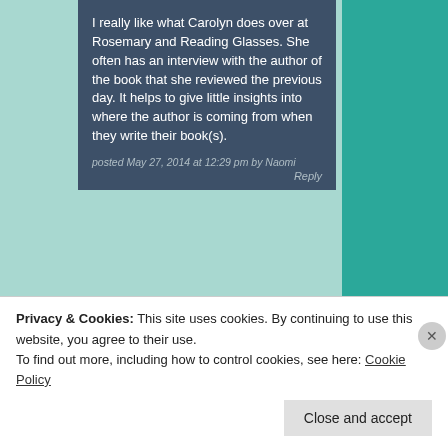I really like what Carolyn does over at Rosemary and Reading Glasses. She often has an interview with the author of the book that she reviewed the previous day. It helps to give little insights into where the author is coming from when they write their book(s).
posted May 27, 2014 at 12:29 pm by Naomi
Reply
[Figure (photo): Circular avatar photo showing two people standing together indoors]
I do love how Carolyn does that! -Tania
posted May 27, 2014 at 2:51 pm by
Privacy & Cookies: This site uses cookies. By continuing to use this website, you agree to their use.
To find out more, including how to control cookies, see here: Cookie Policy
Close and accept